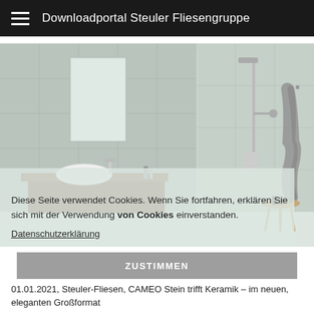Downloadportal Steuler Fliesengruppe
[Figure (photo): Bathroom scene showing light gray/green tiles on walls, a white oval sink on a wood countertop with mirror, a glass-enclosed shower with rain shower head, and a robe hanging on a hook next to a small round side table with toiletries. Cookie consent overlay is shown on the lower left portion of the image.]
Diese Seite verwendet Cookies. Wenn Sie fortfahren, erklären Sie sich mit der Verwendung von Cookies einverstanden.
Datenschutzerklärung
ZUSTIMMEN
01.01.2021, Steuler-Fliesen, CAMEO Stein trifft Keramik – im neuen, eleganten Großformat